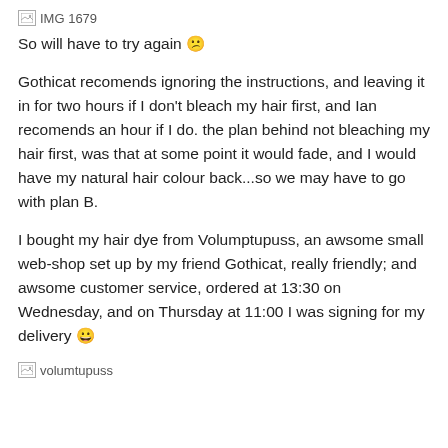[Figure (other): Broken image placeholder labeled IMG 1679]
So will have to try again 😕
Gothicat recomends ignoring the instructions, and leaving it in for two hours if I don't bleach my hair first, and Ian recomends an hour if I do. the plan behind not bleaching my hair first, was that at some point it would fade, and I would have my natural hair colour back...so we may have to go with plan B.
I bought my hair dye from Volumptupuss, an awsome small web-shop set up by my friend Gothicat, really friendly; and awsome customer service, ordered at 13:30 on Wednesday, and on Thursday at 11:00 I was signing for my delivery 😀
[Figure (other): Broken image placeholder labeled volumtupuss]